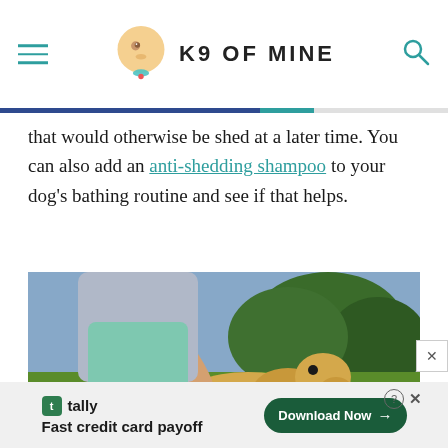K9 OF MINE
that would otherwise be shed at a later time. You can also add an anti-shedding shampoo to your dog's bathing routine and see if that helps.
[Figure (photo): Person brushing a yellow Labrador dog outdoors in a green park setting]
tally Fast credit card payoff Download Now →